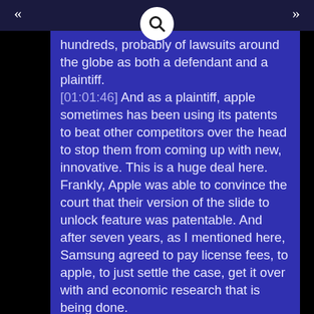hundreds, probably of lawsuits around the globe as both a defendant and a plaintiff. [01:01:46] And as a plaintiff, apple sometimes has been using its patents to beat other competitors over the head to stop them from coming up with new, innovative. This is a huge deal here. Frankly, Apple was able to convince the court that their version of the slide to unlock feature was patentable. And after seven years, as I mentioned here, Samsung agreed to pay license fees, to apple, to just settle the case, get it over with and economic research that is being done. [01:02:21] And I'm looking at right now. What site is this? This is direct costs from some of these yeah. Boston University, school of law law and economics research paper, number 12 dash 34. And it's talking about these non-practicing entities known as patent trolls, that these litigation costs and license fees are stifling innovation in a very big way.